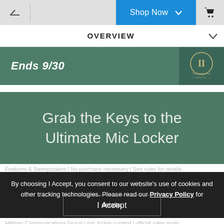Shop Now
OVERVIEW
Ends 9/30
Grab the Keys to the Ultimate Mic Locker
By choosing I Accept, you consent to our website's use of cookies and other tracking technologies. Please read our Privacy Policy for details.
I Accept